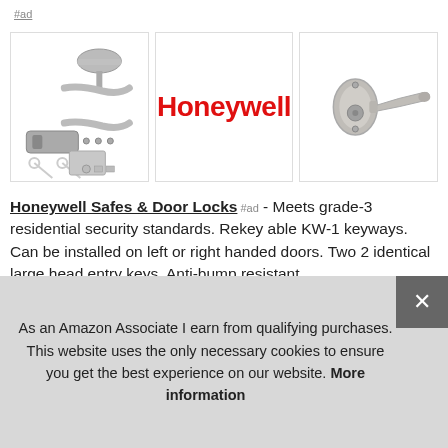#ad
[Figure (photo): Three product images: left shows door lock parts and keys laid out, center shows the Honeywell logo in red, right shows a lever handle door lock in satin nickel]
Honeywell Safes & Door Locks #ad - Meets grade-3 residential security standards. Rekey able KW-1 keyways. Can be installed on left or right handed doors. Two 2 identical large head entry keys. Anti-bump resistant.
As an Amazon Associate I earn from qualifying purchases. This website uses the only necessary cookies to ensure you get the best experience on our website. More information